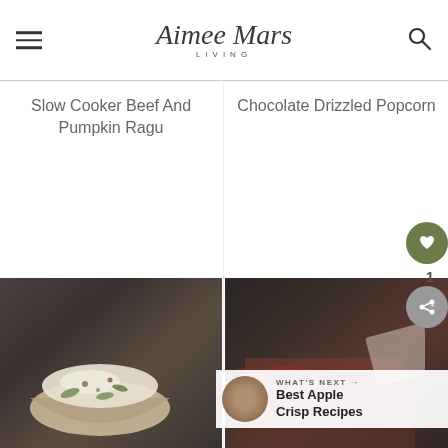Aimee Mars Living
Slow Cooker Beef And Pumpkin Ragu
Chocolate Drizzled Popcorn
[Figure (photo): Dark food photo of a bowl with white creamy topping and sage leaves]
[Figure (photo): Dark food photo of a dish with red sauce and herbs]
WHAT'S NEXT → Best Apple Crisp Recipes